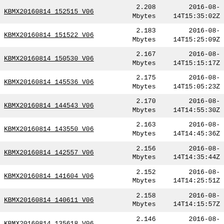| Filename | Size | Date |
| --- | --- | --- |
| KBMX20160814 152515 V06 | 2.208
Mbytes | 2016-08-14T15:35:02Z |
| KBMX20160814 151522 V06 | 2.183
Mbytes | 2016-08-14T15:25:09Z |
| KBMX20160814 150530 V06 | 2.167
Mbytes | 2016-08-14T15:15:17Z |
| KBMX20160814 145536 V06 | 2.175
Mbytes | 2016-08-14T15:05:23Z |
| KBMX20160814 144543 V06 | 2.170
Mbytes | 2016-08-14T14:55:30Z |
| KBMX20160814 143550 V06 | 2.163
Mbytes | 2016-08-14T14:45:36Z |
| KBMX20160814 142557 V06 | 2.156
Mbytes | 2016-08-14T14:35:44Z |
| KBMX20160814 141604 V06 | 2.152
Mbytes | 2016-08-14T14:25:51Z |
| KBMX20160814 140611 V06 | 2.158
Mbytes | 2016-08-14T14:15:57Z |
| KBMX20160814 135618 V06 | 2.146
Mbytes | 2016-08-14T14:06:04Z |
| KBMX20160814 134625 V06 | 2.127
Mbytes | 2016-08-14T13:56:12Z |
| KBMX20160814 133632 V06 | 2.120
Mbytes | 2016-08-14T13:46:18Z |